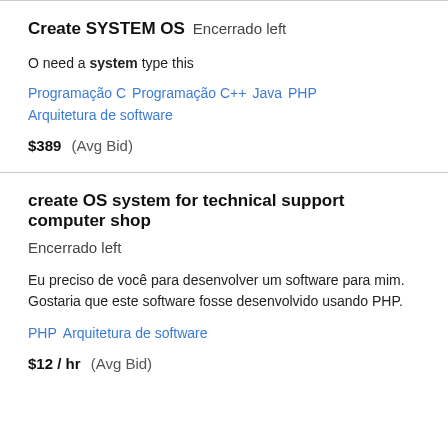Create SYSTEM OS   Encerrado left
O need a system type this
Programação C   Programação C++   Java   PHP   Arquitetura de software
$389  (Avg Bid)
create OS system for technical support computer shop   Encerrado left
Eu preciso de você para desenvolver um software para mim. Gostaria que este software fosse desenvolvido usando PHP.
PHP   Arquitetura de software
$12 / hr  (Avg Bid)